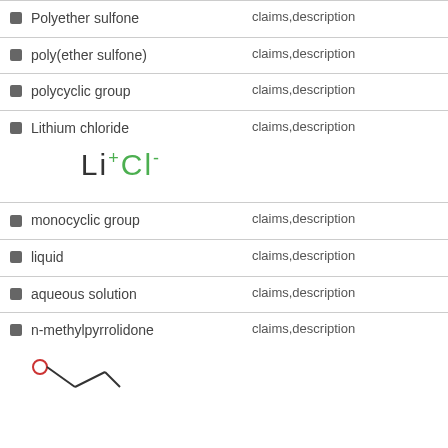Polyether sulfone — claims,description
poly(ether sulfone) — claims,description
polycyclic group — claims,description
Lithium chloride — claims,description
[Figure (other): Chemical formula for Lithium Chloride: Li+Cl-]
monocyclic group — claims,description
liquid — claims,description
aqueous solution — claims,description
n-methylpyrrolidone — claims,description
[Figure (other): Partial chemical structure diagram for n-methylpyrrolidone]